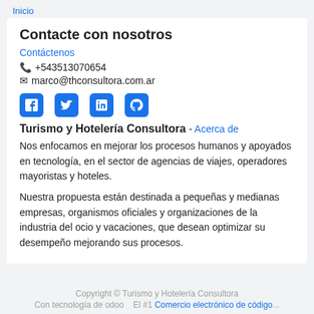Inicio
Contacte con nosotros
Contáctenos
📞 +543513070654
✉ marco@thconsultora.com.ar
[Figure (infographic): Social media icons: Facebook, Twitter, LinkedIn, GitHub in blue]
Turismo y Hotelería Consultora - Acerca de
Nos enfocamos en mejorar los procesos humanos y apoyados en tecnología, en el sector de agencias de viajes, operadores mayoristas y hoteles.
Nuestra propuesta están destinada a pequeñas y medianas empresas, organismos oficiales y organizaciones de la industria del ocio y vacaciones, que desean optimizar su desempeño mejorando sus procesos.
Copyright © Turismo y Hotelería Consultora
Con tecnología de odoo   El #1 Comercio electrónico de código...